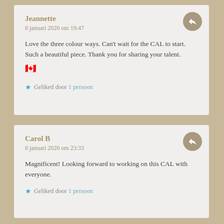Jeannette
8 januari 2020 om 19:47
Love the three colour ways. Can't wait for the CAL to start. Such a beautiful piece. Thank you for sharing your talent. 🇨🇦
Geliked door 1 persoon
Carol B
8 januari 2020 om 23:33
Magnificent! Looking forward to working on this CAL with everyone.
Geliked door 1 persoon